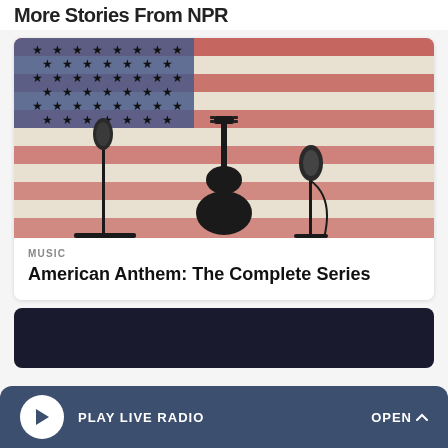More Stories From NPR
[Figure (photo): Photo of an American flag with silhouettes of guitars and microphones in the foreground]
MUSIC
American Anthem: The Complete Series
[Figure (screenshot): Dark card area for a second story]
PLAY LIVE RADIO
OPEN